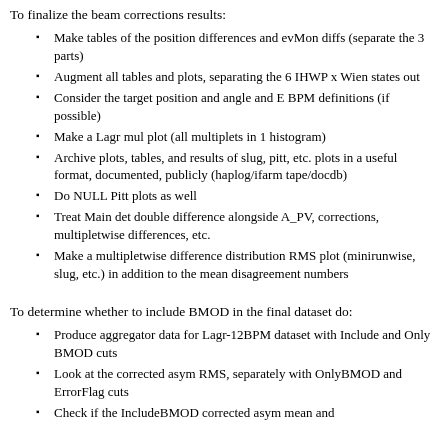To finalize the beam corrections results:
Make tables of the position differences and evMon diffs (separate the 3 parts)
Augment all tables and plots, separating the 6 IHWP x Wien states out
Consider the target position and angle and E BPM definitions (if possible)
Make a Lagr mul plot (all multiplets in 1 histogram)
Archive plots, tables, and results of slug, pitt, etc. plots in a useful format, documented, publicly (haplog/ifarm tape/docdb)
Do NULL Pitt plots as well
Treat Main det double difference alongside A_PV, corrections, multipletwise differences, etc.
Make a multipletwise difference distribution RMS plot (minirunwise, slug, etc.) in addition to the mean disagreement numbers
To determine whether to include BMOD in the final dataset do:
Produce aggregator data for Lagr-12BPM dataset with Include and Only BMOD cuts
Look at the corrected asym RMS, separately with OnlyBMOD and ErrorFlag cuts
Check if the IncludeBMOD corrected asym mean and